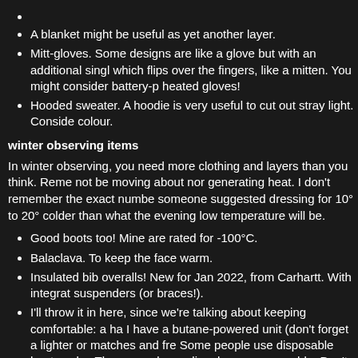A blanket might be useful as yet another layer.
Mitt-gloves. Some designs are like a glove but with an additional singl which flips over the fingers, like a mitten. You might consider battery-p heated gloves!
Hooded sweater. A hoodie is very useful to cut out stray light. Conside colour.
winter observing items
In winter observing, you need more clothing and layers than you think. Reme not be moving about nor generating heat. I don't remember the exact numbe someone suggested dressing for 10° to 20° colder than what the evening low temperature will be.
Good boots too! Mine are rated for -100°C.
Balaclava. To keep the face warm.
Insulated bib overalls! New for Jan 2022, from Carhartt. With integrate suspenders (or braces!).
I'll throw it in here, since we're talking about keeping comfortable: a ha I have a butane-powered unit (don't forget a lighter or matches and fre Some people use disposable heat packs. There are also sodium base are reusable. Don't like flames or chemicals? Try an electronic hand w